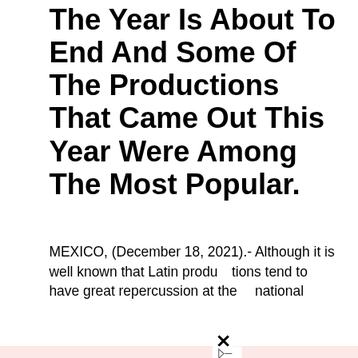The Year Is About To End And Some Of The Productions That Came Out This Year Were Among The Most Popular.
MEXICO, (December 18, 2021).- Although it is well known that Latin productions tend to have great repercussion at the national platforms
[Figure (infographic): Google ad overlay with pink background showing 'Make shopping online easy' text in dark red, Google logo, close button (X), and ad icon. Overlapping article content.]
most ill
[Figure (photo): Man wearing green shirt sitting at a laptop, with a green circle background, in an advertisement for Google Shopping.]
ory of a a cocaine
[Figure (infographic): Dark red bottom bar with 'Open' text on left and right arrow chevron on right side.]